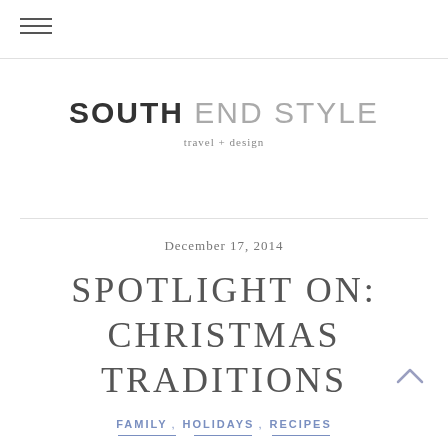[Figure (other): Hamburger menu icon — three horizontal lines]
SOUTH END STYLE
travel + design
December 17, 2014
SPOTLIGHT ON: CHRISTMAS TRADITIONS
FAMILY, HOLIDAYS, RECIPES